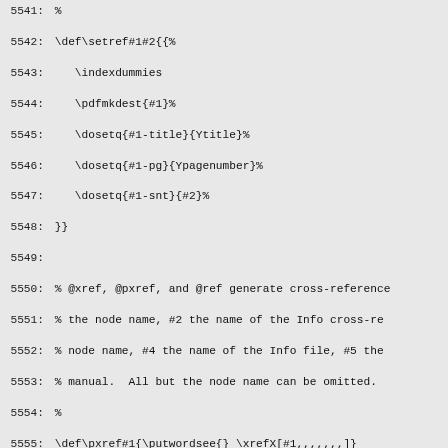5541:  %
5542:  \def\setref#1#2{{%
5543:     \indexdummies
5544:     \pdfmkdest{#1}%
5545:     \dosetq{#1-title}{Ytitle}%
5546:     \dosetq{#1-pg}{Ypagenumber}%
5547:     \dosetq{#1-snt}{#2}%
5548:  }}
5549:
5550:  % @xref, @pxref, and @ref generate cross-reference
5551:  % the node name, #2 the name of the Info cross-re
5552:  % node name, #4 the name of the Info file, #5 the
5553:  % manual.  All but the node name can be omitted.
5554:  %
5555:  \def\pxref#1{\putwordsee{} \xrefX[#1,,,,,,,]}
5556:  \def\xref#1{\putwordSee{} \xrefX[#1,,,,,,,]}
5557:  \def\ref#1{\xrefX[#1,,,,,,,]}
5558:  \def\xrefX[#1,#2,#3,#4,#5,#6]{\begingroup
5559:     \unsepspaces
5560:     \def\printedmanual{\ignorespaces #5}%
5561:     \def\printednodename{\ignorespaces #3}%
5562:     \setbox1=\hbox{\printedmanual}%
5563:     \setbox0=\hbox{\printednodename}%
5564:     \ifdim \wd0 = 0pt
5565:       % No printed node name was explicitly given.
5566:       \expandafter\ifx\csname SETxref-automatic-sec
5567:         % Use the node name inside the square bracke
5568:         \def\printednodename{\ignorespaces #1}%
5569:     \else
5570:       % Use the actual chapter/section title appea